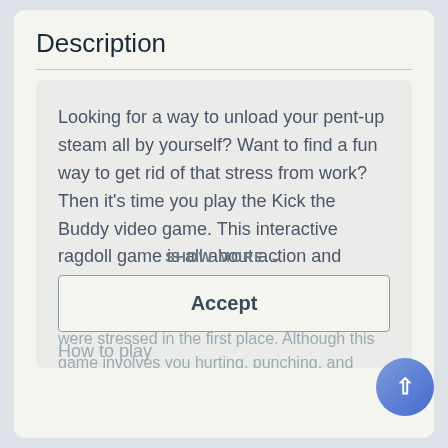Description
Looking for a way to unload your pent-up steam all by yourself? Want to find a fun way to get rid of that stress from work? Then it's time you play the Kick the Buddy video game. This interactive ragdoll game is all about action and experiments that will make you forget why you were stressed in the first place. Although this game involves you hurting, punching, and kicking Buddy (the ragdoll) with the help of different weapons, it can effectively
We use unpersonalized cookies to keep our site working and collect statistics for marketing purposes.See the Privacy and Cookie Policy Learn more
SHOW MORE
Accept
How to play